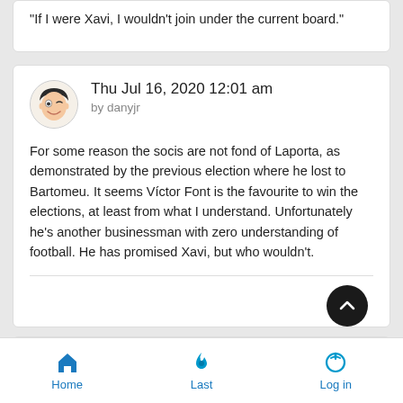"If I were Xavi, I wouldn't join under the current board."
Thu Jul 16, 2020 12:01 am
by danyjr
For some reason the socis are not fond of Laporta, as demonstrated by the previous election where he lost to Bartomeu. It seems Víctor Font is the favourite to win the elections, at least from what I understand. Unfortunately he's another businessman with zero understanding of football. He has promised Xavi, but who wouldn't.
Home    Last    Log in